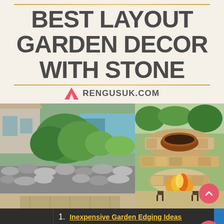BEST LAYOUT GARDEN DECOR WITH STONE
RENGUSUK.COM
[Figure (photo): Stone retaining wall in front of a house with lush garden greenery behind it and a paved walkway in the foreground]
[Figure (photo): Circular stone fire pit area with a metal bowl and fire burning, surrounded by tiered stone landscaping with garden plants]
1. Inexpensive Garden Edging Ideas
2. Small Garden Designs
Search for